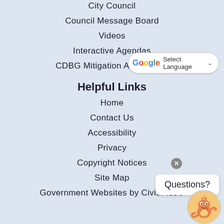City Council
Council Message Board
Videos
Interactive Agendas
CDBG Mitigation Action Plan
Helpful Links
Home
Contact Us
Accessibility
Privacy
Copyright Notices
Site Map
Government Websites by CivicPlus®